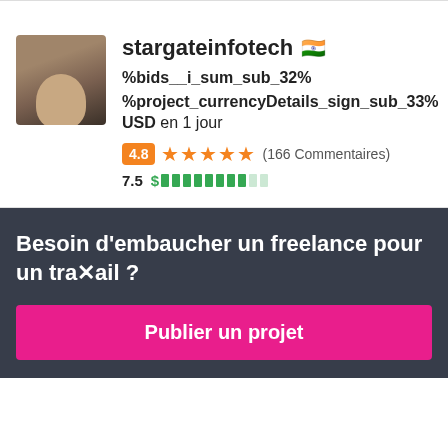[Figure (photo): Profile photo of freelancer stargateinfotech, showing a man outdoors]
stargateinfotech 🇮🇳
%bids__i_sum_sub_32% %project_currencyDetails_sign_sub_33% USD en 1 jour
4.8 ★★★★★ (166 Commentaires)
7.5 $ [progress bar]
Besoin d'embaucher un freelance pour un travail ?
Publier un projet